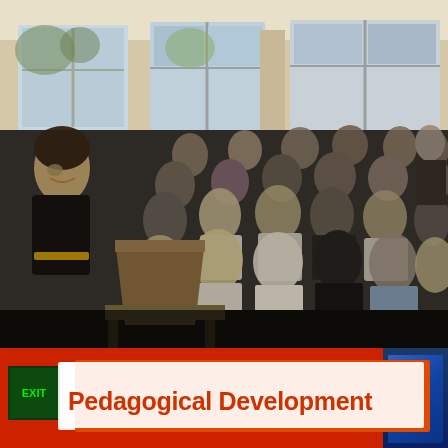[Figure (photo): A classroom or lecture room scene showing a presenter standing at a podium on the left side, facing a large audience of approximately 30 people seated in rows. The room has large windows along the back wall letting in natural light. The photo is taken in a slightly dim indoor setting.]
Pedagogical Development